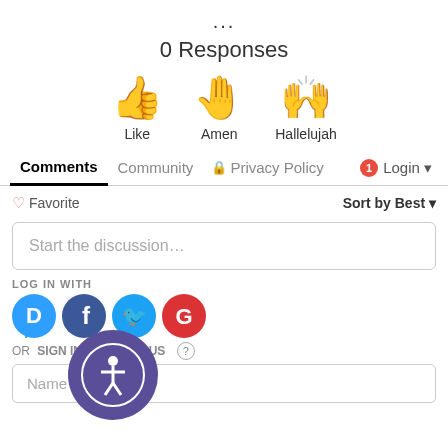...
0 Responses
[Figure (illustration): Three reaction buttons: thumbs up emoji labeled Like, raised hand emoji labeled Amen, two raised hands with sparkles emoji labeled Hallelujah]
Comments | Community | Privacy Policy | 1 | Login
♡ Favorite | Sort by Best
Start the discussion…
LOG IN WITH
[Figure (logo): Social login icons: Disqus (blue speech bubble with D), Facebook (dark blue circle with f), Twitter (light blue circle with bird), Google (red circle with G)]
OR SIGN IN WITH DISQUS ?
Name